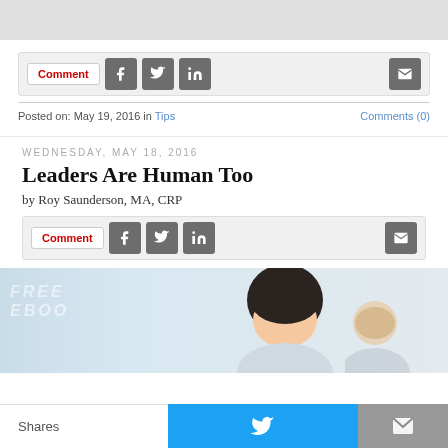[Figure (screenshot): Top gray navigation bar]
Comment | [Facebook] [Twitter] [LinkedIn] [Email]
Posted on: May 19, 2016 in Tips   Comments (0)
WEDNESDAY, MAY 18, 2016
Leaders Are Human Too
by Roy Saunderson, MA, CRP
Comment | [Facebook] [Twitter] [LinkedIn] [Email]
[Figure (photo): Photo of people/leaders, partially visible, with FREE EBOOK watermark overlay]
Shares